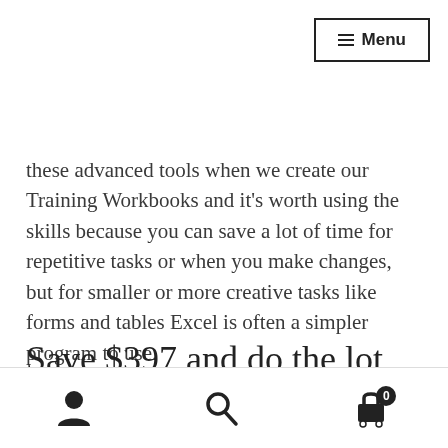Menu
these advanced tools when we create our Training Workbooks and it’s worth using the skills because you can save a lot of time for repetitive tasks or when you make changes, but for smaller or more creative tasks like forms and tables Excel is often a simpler program to use.
Save $397 and do the lot
We’ve bundled the MYOB, Excel and Word courses,
[Figure (illustration): Red Special offer badge/ribbon with yellow stars and text SPECIAL]
User icon, Search icon, Cart icon with badge 0